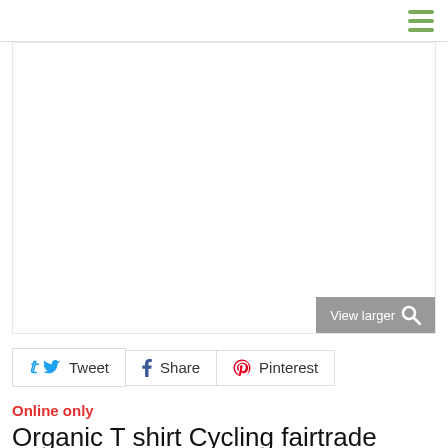[Figure (photo): Product image area - blank white product photo placeholder with a 'View larger' button with magnifying glass icon in the bottom right corner]
Tweet  Share  Pinterest
Online only
Organic T shirt Cycling fairtrade designer France vegan